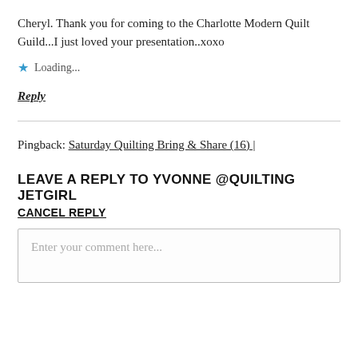Cheryl. Thank you for coming to the Charlotte Modern Quilt Guild...I just loved your presentation..xoxo
Loading...
Reply
Pingback: Saturday Quilting Bring & Share (16) |
LEAVE A REPLY TO YVONNE @QUILTING JETGIRL
CANCEL REPLY
Enter your comment here...